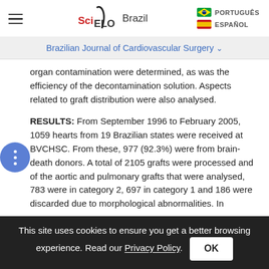[Figure (logo): SciELO Brazil logo with hamburger menu and language switcher (PORTUGUÊS, ESPAÑOL)]
Brazilian Journal of Cardiovascular Surgery
organ contamination were determined, as was the efficiency of the decontamination solution. Aspects related to graft distribution were also analysed.
RESULTS: From September 1996 to February 2005, 1059 hearts from 19 Brazilian states were received at BVCHSC. From these, 977 (92.3%) were from brain-death donors. A total of 2105 grafts were processed and of the aortic and pulmonary grafts that were analysed, 783 were in category 2, 697 in category 1 and 186 were discarded due to morphological abnormalities. In
This site uses cookies to ensure you get a better browsing experience. Read our Privacy Policy.